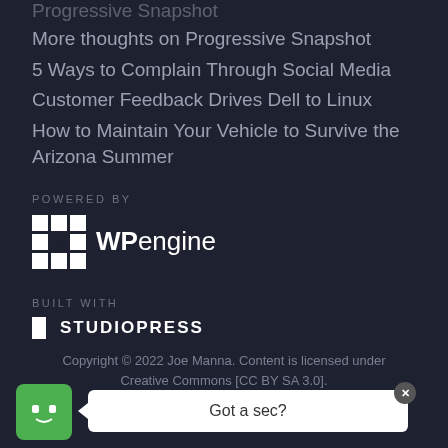Progressive Snapshot (truncated/partial)
More thoughts on Progressive Snapshot
5 Ways to Complain Through Social Media
Customer Feedback Drives Dell to Linux
How to Maintain Your Vehicle to Survive the Arizona Summer
[Figure (logo): WP Engine logo with grid icon and wordmark]
[Figure (logo): StudioPress logo with icon and uppercase text]
Copyright © 2022 Joe Manna. Content is licensed under Creative Commons [CC BY SA 3.0].
[Figure (screenshot): Chat widget with green smiley avatar and 'Got a sec?' speech bubble]